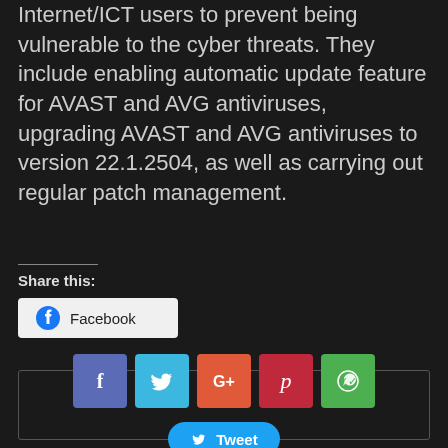Internet/ICT users to prevent being vulnerable to the cyber threats. They include enabling automatic update feature for AVAST and AVG antiviruses, upgrading AVAST and AVG antiviruses to version 22.1.2504, as well as carrying out regular patch management.
Share this:
[Figure (infographic): Facebook share button with Facebook logo icon and text 'Facebook']
[Figure (infographic): Social sharing widget box containing Facebook, Twitter, Google+, Pinterest, WhatsApp icon buttons and a Tweet button]